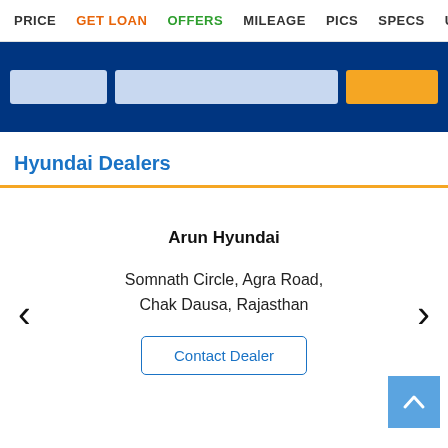PRICE  GET LOAN  OFFERS  MILEAGE  PICS  SPECS  USER RE
[Figure (screenshot): Blue banner with form fields and orange button]
Hyundai Dealers
Arun Hyundai
Somnath Circle, Agra Road, Chak Dausa, Rajasthan
Contact Dealer
[Figure (other): Back to top button (light blue square with upward chevron)]